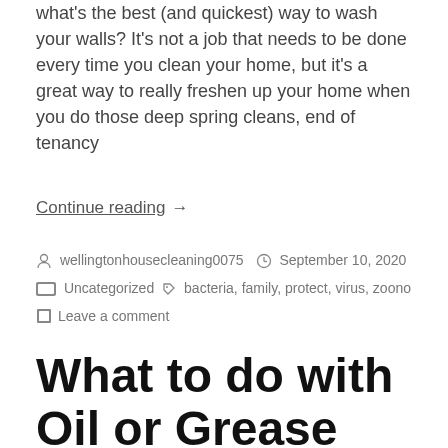what's the best (and quickest) way to wash your walls? It's not a job that needs to be done every time you clean your home, but it's a great way to really freshen up your home when you do those deep spring cleans, end of tenancy
Continue reading →
wellingtonhousecleaning0075   September 10, 2020
Uncategorized   bacteria, family, protect, virus, zoono
Leave a comment
What to do with Oil or Grease Spills on